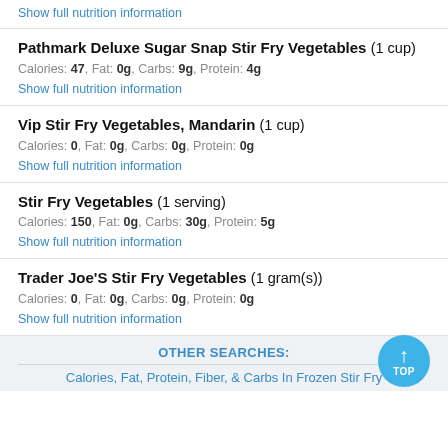Show full nutrition information
Pathmark Deluxe Sugar Snap Stir Fry Vegetables (1 cup)
Calories: 47, Fat: 0g, Carbs: 9g, Protein: 4g
Show full nutrition information
Vip Stir Fry Vegetables, Mandarin (1 cup)
Calories: 0, Fat: 0g, Carbs: 0g, Protein: 0g
Show full nutrition information
Stir Fry Vegetables (1 serving)
Calories: 150, Fat: 0g, Carbs: 30g, Protein: 5g
Show full nutrition information
Trader Joe'S Stir Fry Vegetables (1 gram(s))
Calories: 0, Fat: 0g, Carbs: 0g, Protein: 0g
Show full nutrition information
OTHER SEARCHES:
Calories, Fat, Protein, Fiber, & Carbs In Frozen Stir Fry